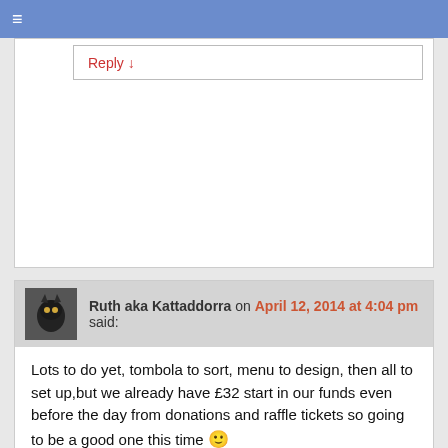≡
Reply ↓
Ruth aka Kattaddorra on April 12, 2014 at 4:04 pm said:
Lots to do yet, tombola to sort, menu to design, then all to set up,but we already have £32 start in our funds even before the day from donations and raffle tickets so going to be a good one this time 🙂
Will write about it with pics after it's all over
Thankfully there are no funerals this week.
Reply ↓
Dee (Florida) on April 12, 2014 at 8:16 pm said:
Oh Lord!
You have to work around funerals?